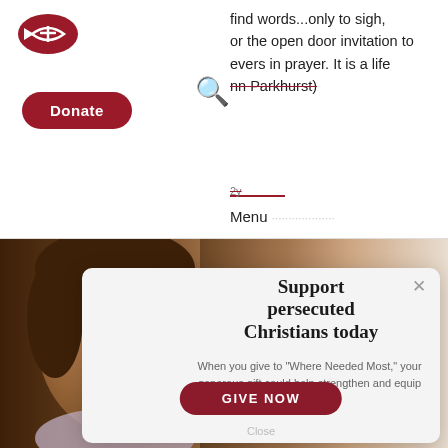[Figure (logo): Open Doors logo - red fish and cross icon above a dark red rounded Donate button]
find words...only to sigh, or the open door invitation to evers in prayer. It is a life nn Parkhurst)
Menu
[Figure (photo): A young girl with brown hair looking at the camera, with a blurred warm-toned background. A popup modal overlays the right portion showing a donation appeal.]
Support persecuted Christians today
When you give to "Where Needed Most," your generous gift could help strengthen and equip believers.
GIVE NOW
Close